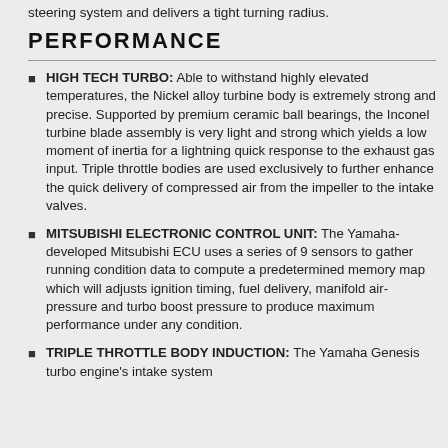steering system and delivers a tight turning radius.
PERFORMANCE
HIGH TECH TURBO: Able to withstand highly elevated temperatures, the Nickel alloy turbine body is extremely strong and precise. Supported by premium ceramic ball bearings, the Inconel turbine blade assembly is very light and strong which yields a low moment of inertia for a lightning quick response to the exhaust gas input. Triple throttle bodies are used exclusively to further enhance the quick delivery of compressed air from the impeller to the intake valves.
MITSUBISHI ELECTRONIC CONTROL UNIT: The Yamaha-developed Mitsubishi ECU uses a series of 9 sensors to gather running condition data to compute a predetermined memory map which will adjusts ignition timing, fuel delivery, manifold air-pressure and turbo boost pressure to produce maximum performance under any condition.
TRIPLE THROTTLE BODY INDUCTION: The Yamaha Genesis turbo engine's intake system